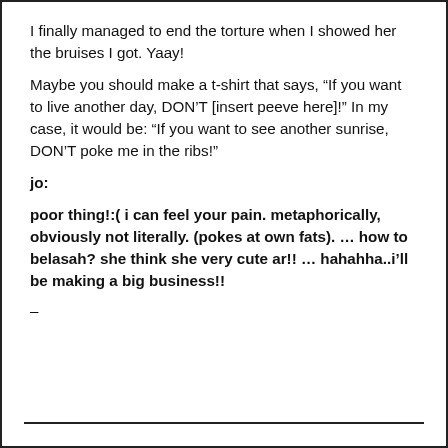I finally managed to end the torture when I showed her the bruises I got. Yaay!
Maybe you should make a t-shirt that says, “If you want to live another day, DON’T [insert peeve here]!” In my case, it would be: “If you want to see another sunrise, DON’T poke me in the ribs!”
jo:
poor thing!:( i can feel your pain. metaphorically, obviously not literally. (pokes at own fats). … how to belasah? she think she very cute ar!! … hahahha..i’ll be making a big business!!
–